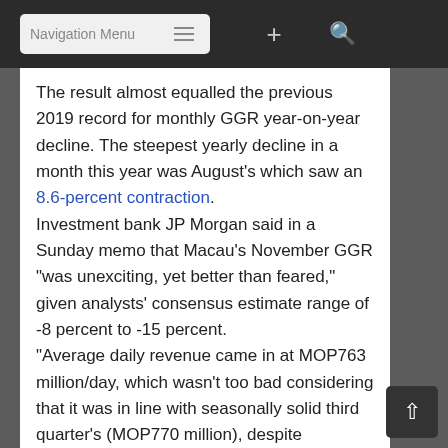Navigation Menu
The result almost equalled the previous 2019 record for monthly GGR year-on-year decline. The steepest yearly decline in a month this year was August's which saw an 8.6-percent contraction.
Investment bank JP Morgan said in a Sunday memo that Macau's November GGR “was unexciting, yet better than feared,” given analysts’ consensus estimate range of -8 percent to -15 percent.
“Average daily revenue came in at MOP763 million/day, which wasn’t too bad considering that it was in line with seasonally solid third quarter’s (MOP770 million), despite disruptions from significant social unrest in Hong Kong, as well as some visa control in Macau towards the end of the month,” said